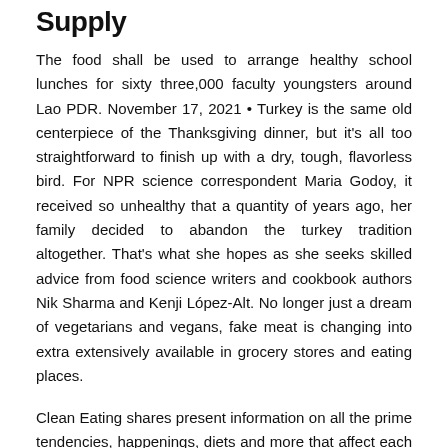Supply
The food shall be used to arrange healthy school lunches for sixty three,000 faculty youngsters around Lao PDR. November 17, 2021 • Turkey is the same old centerpiece of the Thanksgiving dinner, but it's all too straightforward to finish up with a dry, tough, flavorless bird. For NPR science correspondent Maria Godoy, it received so unhealthy that a quantity of years ago, her family decided to abandon the turkey tradition altogether. That's what she hopes as she seeks skilled advice from food science writers and cookbook authors Nik Sharma and Kenji López-Alt. No longer just a dream of vegetarians and vegans, fake meat is changing into extra extensively available in grocery stores and eating places.
Clean Eating shares present information on all the prime tendencies, happenings, diets and more that affect each what you're eating and your well being and wellness. From